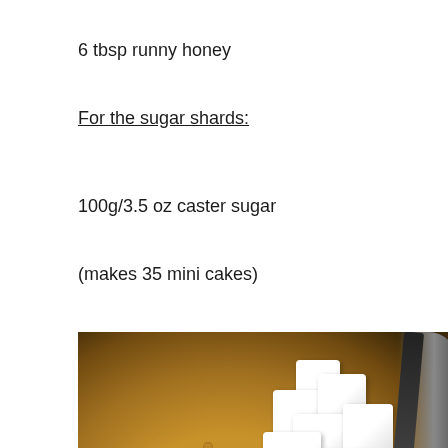6 tbsp runny honey
For the sugar shards:
100g/3.5 oz caster sugar
(makes 35 mini cakes)
[Figure (photo): Overhead view of white sugar cubes being added to a dark pan containing golden-brown caramel liquid, with a dark utensil visible]
[Figure (photo): Partial view of the same pan with caramel and sugar cubes being stirred, bottom portion of image]